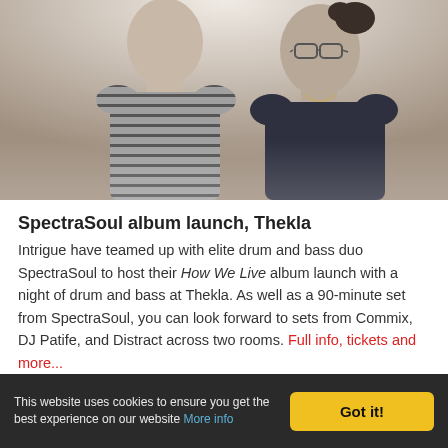[Figure (photo): Two people shown in profile/side view against a bright background. Left person wears a grey striped sweater, right person wears dark knitwear and glasses with hair in a bun.]
SpectraSoul album launch, Thekla
Intrigue have teamed up with elite drum and bass duo SpectraSoul to host their How We Live album launch with a night of drum and bass at Thekla. As well as a 90-minute set from SpectraSoul, you can look forward to sets from Commix, DJ Patife, and Distract across two rooms. Full info, tickets and more...
This website uses cookies to ensure you get the best experience on our website More info